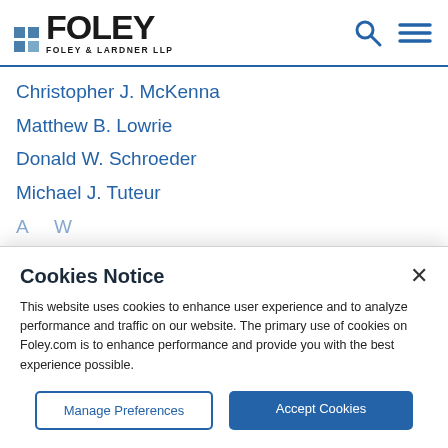FOLEY | FOLEY & LARDNER LLP
Christopher J. McKenna
Matthew B. Lowrie
Donald W. Schroeder
Michael J. Tuteur
Cookies Notice
This website uses cookies to enhance user experience and to analyze performance and traffic on our website. The primary use of cookies on Foley.com is to enhance performance and provide you with the best experience possible.
Manage Preferences | Accept Cookies